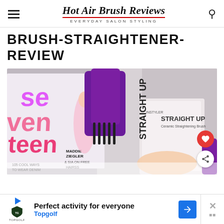Hot Air Brush Reviews — EVERYDAY SALON STYLING
BRUSH-STRAIGHTENER-REVIEW
[Figure (photo): Photo of a purple InStyler Straight Up Ceramic Straightening Brush resting on a marble surface next to a Seventeen magazine featuring Maddie Ziegler and Sia, with a hand holding the product box visible on the right.]
Perfect activity for everyone  Topgolf